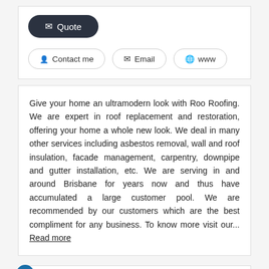[Figure (screenshot): Quote button (dark pill-shaped button with envelope icon) and three outline buttons: Contact me, Email, www]
Give your home an ultramodern look with Roo Roofing. We are expert in roof replacement and restoration, offering your home a whole new look. We deal in many other services including asbestos removal, wall and roof insulation, facade management, carpentry, downpipe and gutter installation, etc. We are serving in and around Brisbane for years now and thus have accumulated a large customer pool. We are recommended by our customers which are the best compliment for any business. To know more visit our...  Read more
Room For Living
Furniture > Dining Room Furniture